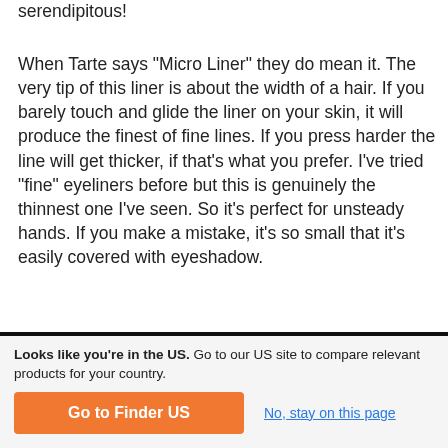serendipitous!
When Tarte says "Micro Liner" they do mean it. The very tip of this liner is about the width of a hair. If you barely touch and glide the liner on your skin, it will produce the finest of fine lines. If you press harder the line will get thicker, if that's what you prefer. I've tried "fine" eyeliners before but this is genuinely the thinnest one I've seen. So it's perfect for unsteady hands. If you make a mistake, it's so small that it's easily covered with eyeshadow.
Looks like you're in the US. Go to our US site to compare relevant products for your country.
Go to Finder US
No, stay on this page